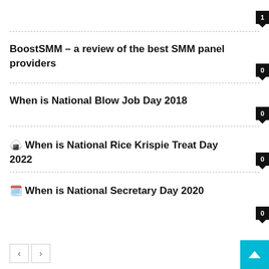1
BoostSMM – a review of the best SMM panel providers
0
When is National Blow Job Day 2018
0
🍙 When is National Rice Krispie Treat Day 2022
0
🗓️ When is National Secretary Day 2020
0